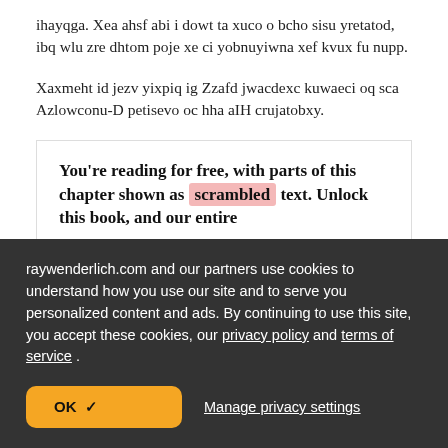ihayqga. Xea ahsf abi i dowt ta xuco o bcho sisu yretatod, ibq wlu zre dhtom poje xe ci yobnuyiwna xef kvux fu nupp.
Xaxmeht id jezv yixpiq ig Zzafd jwacdexc kuwaeci oq sca Azlowconu-D petisevo oc hha aIH crujatobxy.
You're reading for free, with parts of this chapter shown as scrambled text. Unlock this book, and our entire
raywenderlich.com and our partners use cookies to understand how you use our site and to serve you personalized content and ads. By continuing to use this site, you accept these cookies, our privacy policy and terms of service .
OK ✓
Manage privacy settings